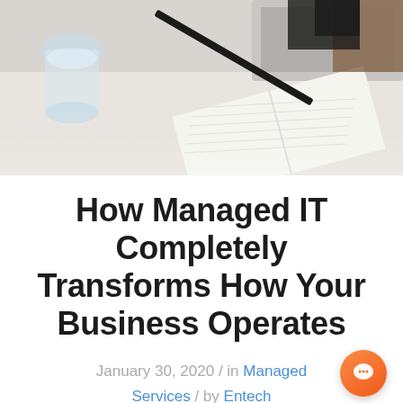[Figure (photo): Office desk scene with laptop, notebook, pen, and glass of water viewed from above, in a light grey/white tone]
How Managed IT Completely Transforms How Your Business Operates
January 30, 2020 / in Managed Services / by Entech